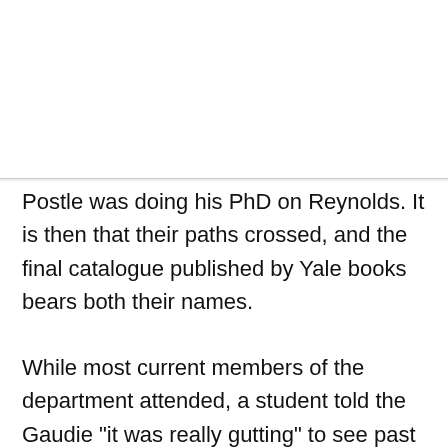as
e on
time,
Postle was doing his PhD on Reynolds. It is then that their paths crossed, and the final catalogue published by Yale books bears both their names.
While most current members of the department attended, a student told the Gaudie "it was really gutting" to see past lecturers still working at the University absent from this celebration.
Another 3rd year student said it was "really great" to celebrate this anniversary in person, and that "it wouldn't have been the same having it online like most things last year"